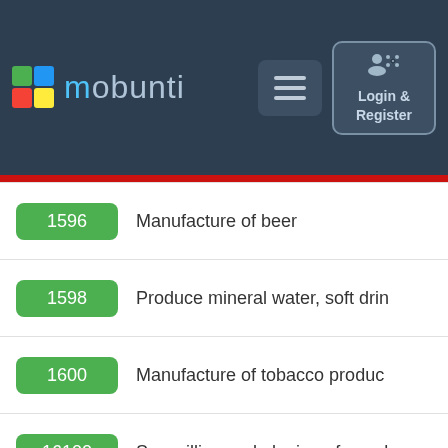[Figure (screenshot): Mobunti website navigation bar with logo, hamburger menu button, and Login & Register button on dark blue background]
| Code | Description |
| --- | --- |
| 1596 | Manufacture of beer |
| 1598 | Produce mineral water, soft drin |
| 1600 | Manufacture of tobacco produc |
| 16100 | Sawmilling and planing of wood |
| 16210 | Manufacture of veneer sheets a |
|  | assembled par |
|  | of other builders' c |
This website uses cookies. We use these non-personal cookies to give you the best experience. If you continue using our website, we'll assume that you are happy to receive these cookies. Continue Learn more